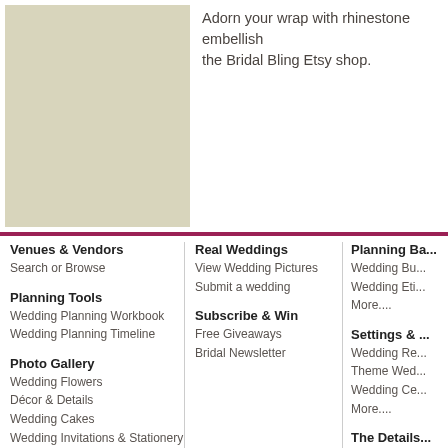[Figure (photo): Beige/tan colored image placeholder on left side of top section]
Adorn your wrap with rhinestone embellishments from the Bridal Bling Etsy shop.
Venues & Vendors
Search or Browse
Real Weddings
View Wedding Pictures
Submit a wedding
Planning Ba...
Wedding Bu...
Wedding Eti...
More....
Planning Tools
Wedding Planning Workbook
Wedding Planning Timeline
Subscribe & Win
Free Giveaways
Bridal Newsletter
Settings & ...
Wedding Re...
Theme Wed...
Wedding Ce...
More....
Photo Gallery
Wedding Flowers
Décor & Details
Wedding Cakes
Wedding Invitations & Stationery
Brides
Bridesmaids
Guys & Grooms
Wedding Hairstyles
Wedding Accessories
The Details...
Wedding Ca...
Wedding Flo...
Wedding Inv...
Wedding Fa...
Honeymoon...
More....
Visitors: Home | About Us | Ask Us | Privacy | Vendors and Ven...
© 2003 - 2015 www.eleGALA.com, owned and operated by Hawthorn Publications...